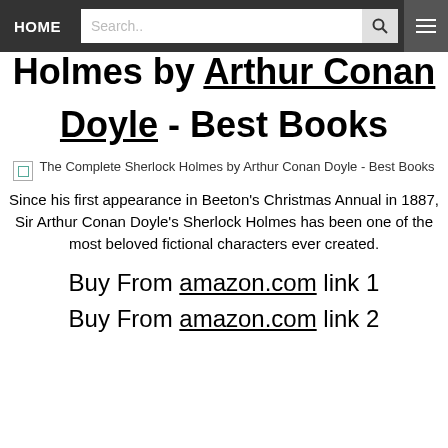HOME | Search.. | [menu]
Holmes by Arthur Conan Doyle - Best Books
[Figure (photo): The Complete Sherlock Holmes by Arthur Conan Doyle - Best Books (broken image placeholder)]
The Complete Sherlock Holmes by Arthur Conan Doyle - Best Books
Since his first appearance in Beeton's Christmas Annual in 1887, Sir Arthur Conan Doyle's Sherlock Holmes has been one of the most beloved fictional characters ever created.
Buy From amazon.com link 1
Buy From amazon.com link 2